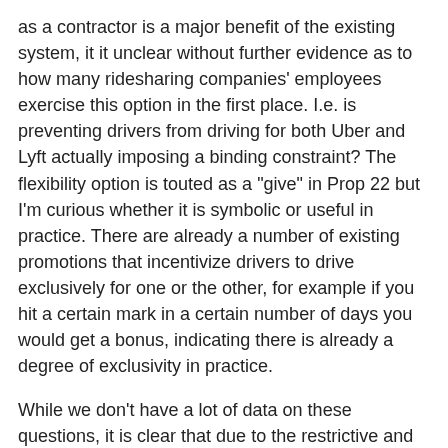as a contractor is a major benefit of the existing system, it it unclear without further evidence as to how many ridesharing companies' employees exercise this option in the first place. I.e. is preventing drivers from driving for both Uber and Lyft actually imposing a binding constraint? The flexibility option is touted as a "give" in Prop 22 but I'm curious whether it is symbolic or useful in practice. There are already a number of existing promotions that incentivize drivers to drive exclusively for one or the other, for example if you hit a certain mark in a certain number of days you would get a bonus, indicating there is already a degree of exclusivity in practice.
While we don't have a lot of data on these questions, it is clear that due to the restrictive and stringent nature of the proposition - in terms of amendments and repeals - and its very limited concessions to labor it is not the appropriate choice to amend AB5 or its treatment of gig companies. There may be a significant number of workers who are treating their "gigs" at ridesharing companies as just that. But I suspect given broader trends in the U.S. workforce that there are many people who are also effectively employees